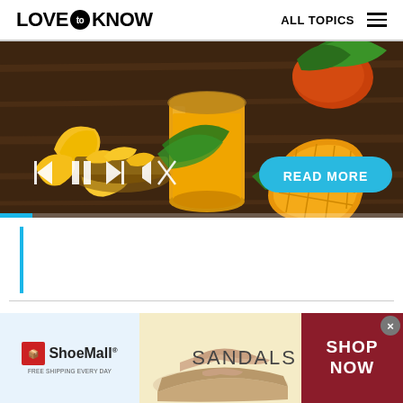LOVE to KNOW  ALL TOPICS
[Figure (photo): Mango juice in glass jar with fresh mango pieces and whole mangoes on wooden table]
The Rest of Your Horton Costume
[Figure (other): ShoeMall advertisement banner with sandals image and SHOP NOW call to action]